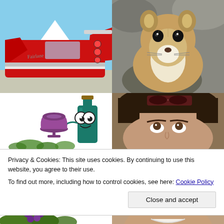[Figure (photo): Red classic car tail fin with chrome detail, mountain with snow cap in background, parked on asphalt.]
[Figure (photo): Close-up photo of a small brown and white chipmunk or squirrel looking at camera.]
[Figure (illustration): Cartoon illustration of a smiling wine bottle character with glasses and a purple wine bowl/cup, with green grape leaves at the bottom.]
[Figure (photo): Close-up photo of a dark-haired woman with sunglasses on her head, looking upward.]
Privacy & Cookies: This site uses cookies. By continuing to use this website, you agree to their use.
To find out more, including how to control cookies, see here: Cookie Policy
[Figure (illustration): Green grape vine illustration with purple grape clusters at the bottom left.]
[Figure (photo): Partial bottom photo of a woman's face, smiling.]